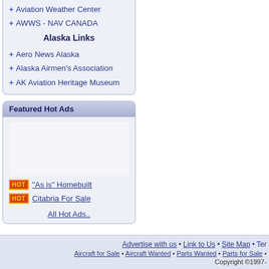+ Aviation Weather Center
+ AWWS - NAV CANADA
Alaska Links
+ Aero News Alaska
+ Alaska Airmen's Association
+ AK Aviation Heritage Museum
Featured Hot Ads
HOT "As is" Homebuilt
HOT Citabria For Sale
All Hot Ads..
Advertise with us • Link to Us • Site Map • Ter... Aircraft for Sale • Aircraft Wanted • Parts Wanted • Parts for Sale • Copyright ©1997-